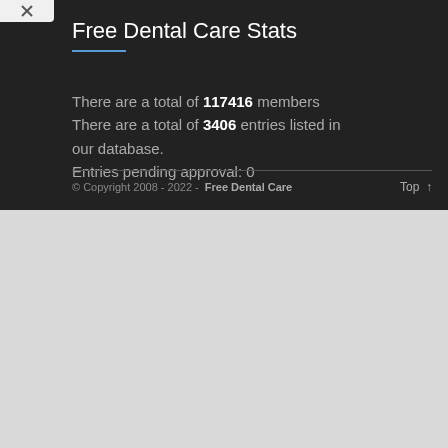Free Dental Care Stats
There are a total of 117416 members There are a total of 3406 entries listed in our database. Entries pending approval: 0
© Copyright 2008 - 2022 - Free Dental Care    Top ↑